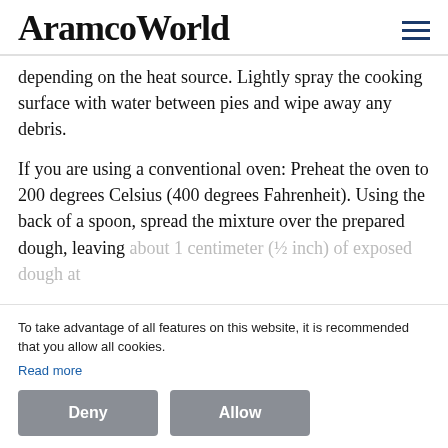AramcoWorld
depending on the heat source. Lightly spray the cooking surface with water between pies and wipe away any debris.
If you are using a conventional oven: Preheat the oven to 200 degrees Celsius (400 degrees Fahrenheit). Using the back of a spoon, spread the mixture over the prepared dough, leaving about 1 centimeter (½ inch) of exposed dough at
To take advantage of all features on this website, it is recommended that you allow all cookies.
Read more